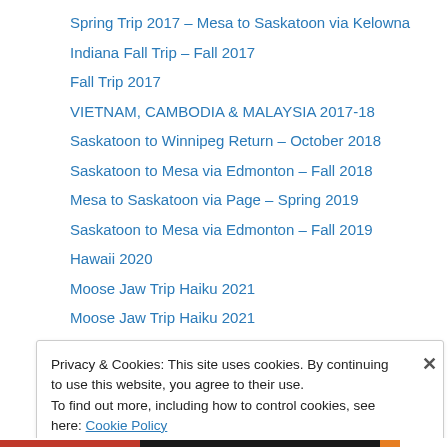Spring Trip 2017 – Mesa to Saskatoon via Kelowna
Indiana Fall Trip – Fall 2017
Fall Trip 2017
VIETNAM, CAMBODIA & MALAYSIA 2017-18
Saskatoon to Winnipeg Return – October 2018
Saskatoon to Mesa via Edmonton – Fall 2018
Mesa to Saskatoon via Page – Spring 2019
Saskatoon to Mesa via Edmonton – Fall 2019
Hawaii 2020
Moose Jaw Trip Haiku 2021
Moose Jaw Trip Haiku 2021
TRIBUTES
1. Laura Miller
Privacy & Cookies: This site uses cookies. By continuing to use this website, you agree to their use.
To find out more, including how to control cookies, see here: Cookie Policy